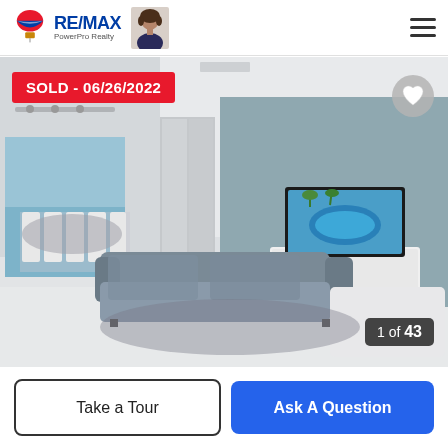[Figure (logo): RE/MAX PowerPro Realty logo with balloon icon and agent photo]
[Figure (photo): Interior living room photo of a modern condo with gray sofa, dining area, TV on white console, and windows overlooking water]
SOLD - 06/26/2022
1 of 43
Take a Tour
Ask A Question